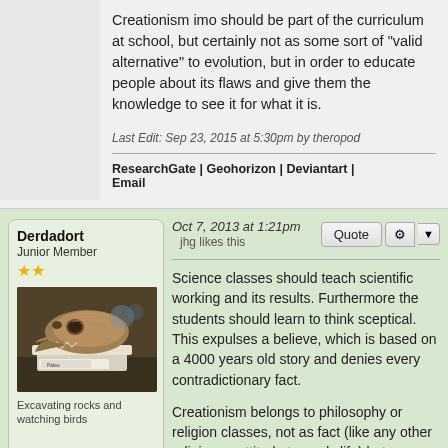Creationism imo should be part of the curriculum at school, but certainly not as some sort of "valid alternative" to evolution, but in order to educate people about its flaws and give them the knowledge to see it for what it is.
Last Edit: Sep 23, 2015 at 5:30pm by theropod
ResearchGate | Geohorizon | Deviantart | Email
Derdadort
Junior Member
[Figure (photo): Photo of a fossil skull (dinosaur or prehistoric animal) displayed on a white mount in what appears to be a museum or exhibit setting.]
Excavating rocks and watching birds
Oct 7, 2013 at 1:21pm   jhg likes this
Science classes should teach scientific working and its results. Furthermore the students should learn to think sceptical. This expulses a believe, which is based on a 4000 years old story and denies every contradictionary fact.

Creationism belongs to philosophy or religion classes, not as fact (like any other religion or attitude towards life) but as a possibilty of believing.